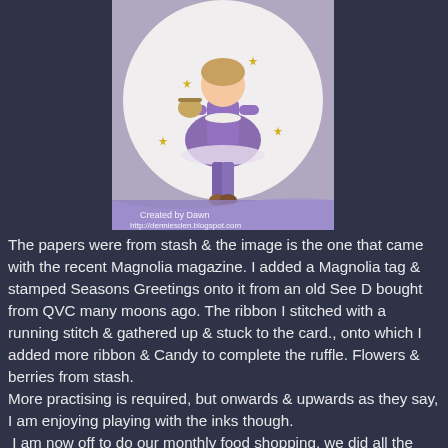[Figure (illustration): A colored illustration of a girl character wearing a purple dress and purple striped stockings, holding a basket, with gold stars around her. She is depicted in a circular/oval frame with a purple ribbon at the bottom. Text overlay reads 'Created by Dawn' and 'http://denniesden.blogspot.com']
The papers were from stash & the image is the one that came with the recent Magnolia magazine. I added a Magnolia tag & stamped Seasons Greetings onto it from an old See D bought from QVC many moons ago. The ribbon I stitched with a running stitch & gathered up & stuck to the card., onto which I added more ribbon & Candy to complete the ruffle. Flowers & berries from stash.
More practising is required, but onwards & upwards as they say, I am enjoying playing with the inks though.
 I am now off to do our monthly food shopping, we did all the extra Christmas food yesterday & today the normal shop. Then apart from the meat & cheese order which is to be